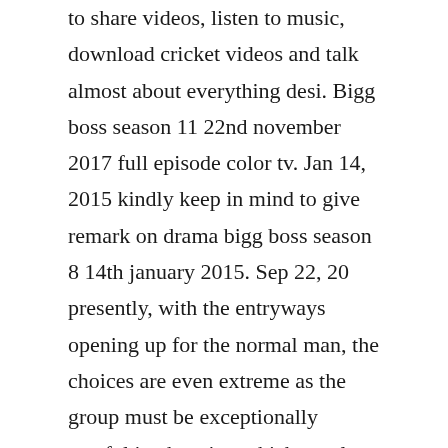to share videos, listen to music, download cricket videos and talk almost about everything desi. Bigg boss season 11 22nd november 2017 full episode color tv. Jan 14, 2015 kindly keep in mind to give remark on drama bigg boss season 8 14th january 2015. Sep 22, 20 presently, with the entryways opening up for the normal man, the choices are even extreme as the group must be exceptionally careful in choosing which regular man would fit to be a piece of such a show, to the point that makes seat marks for reality appears. Kindly keep in mind to give